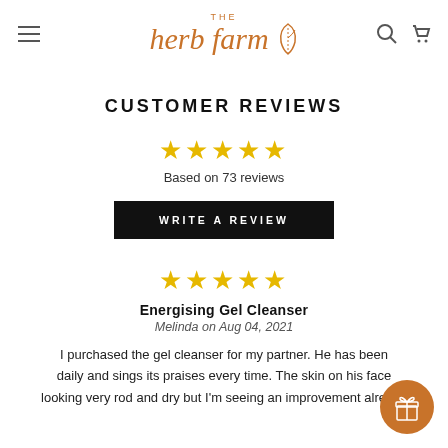[Figure (logo): The Herb Farm logo with stylized text and leaf icon in orange/copper color]
CUSTOMER REVIEWS
★★★★★ Based on 73 reviews
WRITE A REVIEW
★★★★★
Energising Gel Cleanser
Melinda on Aug 04, 2021
I purchased the gel cleanser for my partner. He has been using it daily and sings its praises every time. The skin on his face was looking very rod and dry but I'm seeing an improvement already